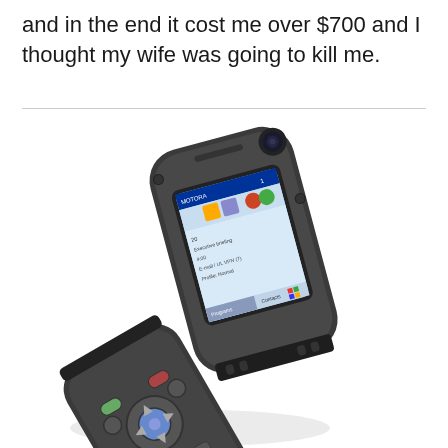and in the end it cost me over $700 and I thought my wife was going to kill me.
[Figure (photo): A Motorola flip smartphone open, showing a Windows Mobile screen with icons and menu items, photographed at an angle against a white background.]